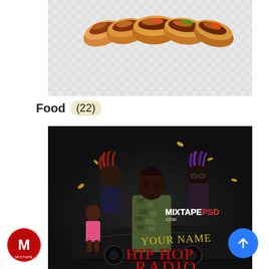[Figure (photo): Photo of several tacos and burritos arranged in a row on a light gray checkered background]
Food (22)
[Figure (photo): Hip hop radio mixtape cover art showing rappers including a man in camouflage jacket in the foreground, woman in pink on a car, and two other rappers in background. Text reads: MIXTAPEPSD.COM, YOUR NAME, HIP HOP RADIO. Dark dramatic background.]
[Figure (logo): MixtapePSD logo — red circular badge with letter M]